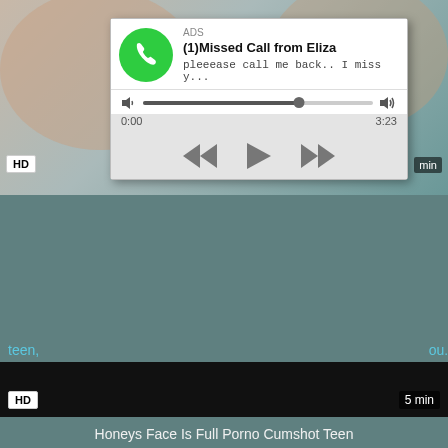[Figure (screenshot): Top portion of a video thumbnail showing blurred/skin-tone background, with HD badge bottom-left and partial 'min' label top-right]
[Figure (screenshot): Popup ad overlay showing a phone notification: ADS header, green phone icon circle, title '(1)Missed Call from Eliza', subtitle 'pleeease call me back.. I miss y...', audio progress bar with speaker icons, time display 0:00 and 3:23, and media controls with rewind, play, and fast-forward buttons]
teen,
ou...
[Figure (screenshot): Large black video player area with HD badge bottom-left and '5 min' label bottom-right]
Honeys Face Is Full Porno Cumshot Teen